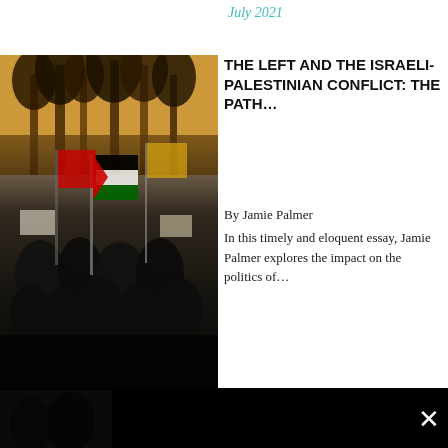July 2021
[Figure (photo): Protest scene with Palestinian and other flags waving, crowd of protesters visible in an urban setting with trees in background]
THE LEFT AND THE ISRAELI-PALESTINIAN CONFLICT: THE PATH...
By Jamie Palmer
In this timely and eloquent essay, Jamie Palmer explores the impact on the politics of...
[Figure (infographic): Newsletter subscription modal overlay on black background with Facebook logo watermark. Text reads: Join over 9000 global opinion formers by subscribing to Fathom's influential Weekly Newsletter. Email Address field with asterisk.]
Join over 9000 global opinion formers by subscribing to Fathom's influential Weekly Newsletter
Email Address *